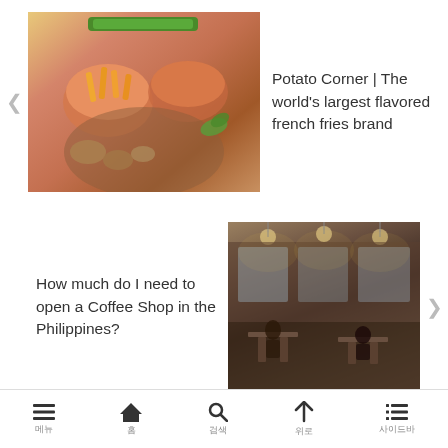[Figure (photo): Food photo showing flavored french fries and dishes on a wooden board with the Potato Corner logo banner at top]
Potato Corner | The world's largest flavored french fries brand
How much do I need to open a Coffee Shop in the Philippines?
[Figure (photo): Interior of a coffee shop with people sitting at tables, warm lighting]
🏠 홈 > 카테고리 > 비즈니스 > Business
최근글     최근댓글
공지사항보기설정
메뉴    홈    검색    위로    사이드바